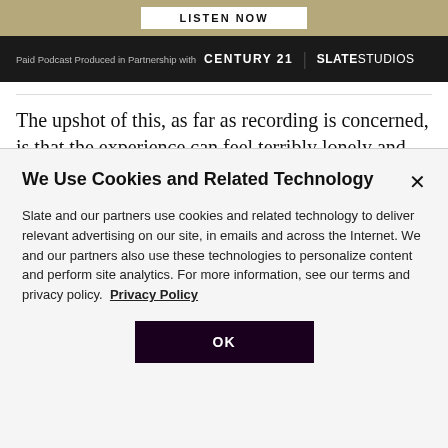[Figure (screenshot): Listen Now button on tan/khaki banner background]
Paid Podcast Produced in Partnership with CENTURY 21 | SLATE STUDIOS
The upshot of this, as far as recording is concerned, is that the experience can feel terribly lonely and isolating. The relationship one has with an audience may not
We Use Cookies and Related Technology
Slate and our partners use cookies and related technology to deliver relevant advertising on our site, in emails and across the Internet. We and our partners also use these technologies to personalize content and perform site analytics. For more information, see our terms and privacy policy. Privacy Policy
OK